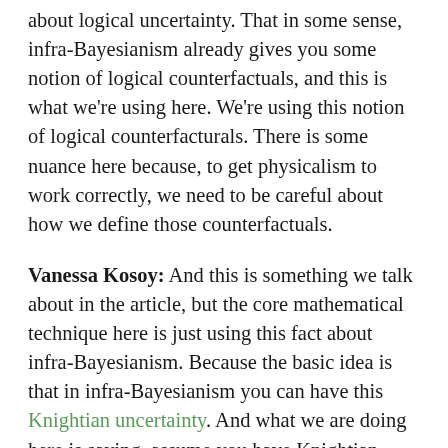about logical uncertainty. That in some sense, infra-Bayesianism already gives you some notion of logical counterfactuals, and this is what we're using here. We're using this notion of logical counterfacturals. There is some nuance here because, to get physicalism to work correctly, we need to be careful about how we define those counterfactuals.
Vanessa Kosoy: And this is something we talk about in the article, but the core mathematical technique here is just using this fact about infra-Bayesianism. Because the basic idea is that in infra-Bayesianism you can have this Knightian uncertainty. And what we are doing here is saying, assume you have Knightian uncertainty about the outcome of a computation, then you can build counterfactuals by forming those logical conjunctions. In infra-Bayesianism you can define conjunctions of beliefs. So once you have Knightian uncertainty about whether